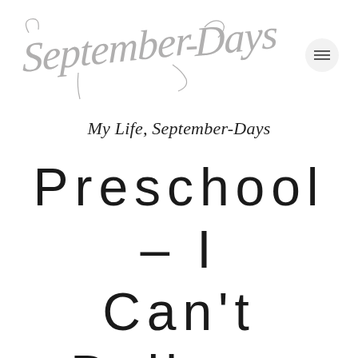[Figure (logo): September-Days cursive script logo in grey]
My Life, September-Days
Preschool – I Can't Believe It